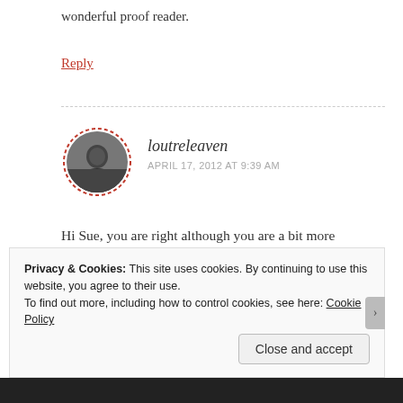wonderful proof reader.
Reply
[Figure (photo): Black and white circular avatar photo of loutreleaven, with dashed red border]
loutreleaven
APRIL 17, 2012 AT 9:39 AM
Hi Sue, you are right although you are a bit more successful than me! We must be a certain type although what that is I am not sure! Enjoyed reading
Privacy & Cookies: This site uses cookies. By continuing to use this website, you agree to their use.
To find out more, including how to control cookies, see here: Cookie Policy
Close and accept